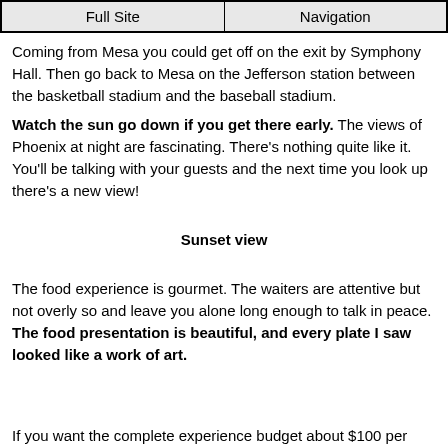Full Site | Navigation
Coming from Mesa you could get off on the exit by Symphony Hall. Then go back to Mesa on the Jefferson station between the basketball stadium and the baseball stadium.
Watch the sun go down if you get there early. The views of Phoenix at night are fascinating. There's nothing quite like it. You'll be talking with your guests and the next time you look up there's a new view!
Sunset view
The food experience is gourmet. The waiters are attentive but not overly so and leave you alone long enough to talk in peace. The food presentation is beautiful, and every plate I saw looked like a work of art.
If you want the complete experience budget about $100 per person and this includes adult beverages and dessert.